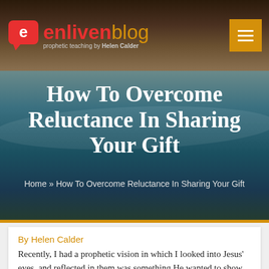enliven blog — prophetic teaching by Helen Calder
How To Overcome Reluctance In Sharing Your Gift
Home » How To Overcome Reluctance In Sharing Your Gift
By Helen Calder
Recently, I had a prophetic vision in which I looked into Jesus' eyes, and reflected in them was something He wanted to show me.